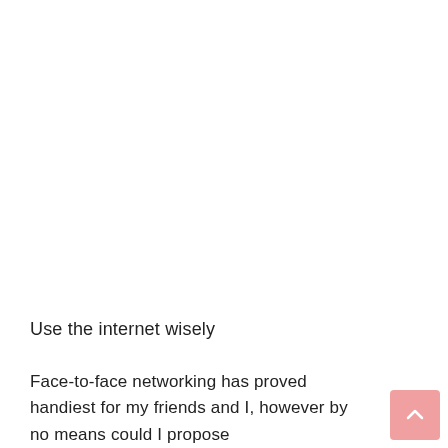Use the internet wisely
Face-to-face networking has proved handiest for my friends and I, however by no means could I propose